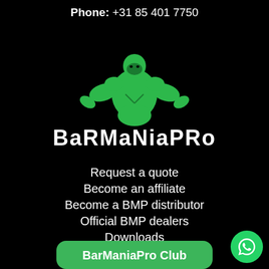Phone: +31 85 401 7750
[Figure (logo): BarManiaPro green muscular figure logo with text BARMANIAPRO in white bold font below on black background]
Request a quote
Become an affiliate
Become a BMP distributor
Official BMP dealers
Downloads
About BMP
Products
BarManiaPro Club